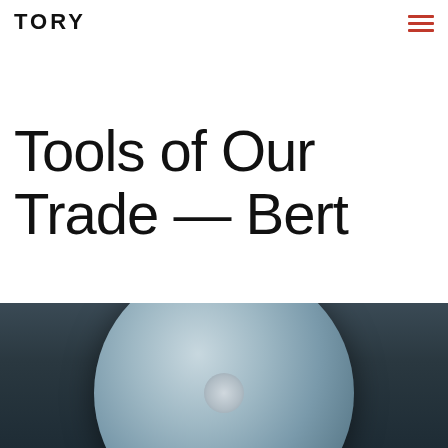TORY
Tools of Our Trade — Bert
[Figure (photo): Close-up photograph of a vinyl record or disc-shaped object, dark blue/grey background, showing the circular form partially cropped at the bottom of the page.]